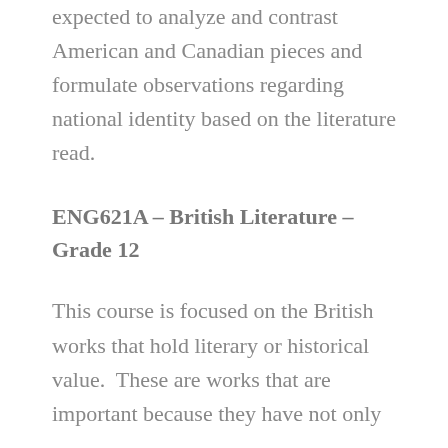expected to analyze and contrast American and Canadian pieces and formulate observations regarding national identity based on the literature read.
ENG621A – British Literature – Grade 12
This course is focused on the British works that hold literary or historical value.  These are works that are important because they have not only